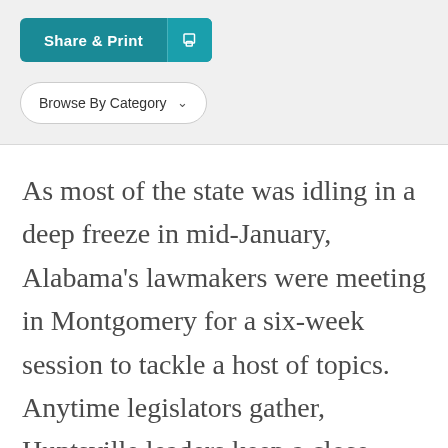[Figure (screenshot): Share & Print button with teal background and share icon]
[Figure (screenshot): Browse By Category dropdown button with rounded border]
As most of the state was idling in a deep freeze in mid-January, Alabama's lawmakers were meeting in Montgomery for a six-week session to tackle a host of topics. Anytime legislators gather, Huntsville leaders keep a close watch on bills of interest.